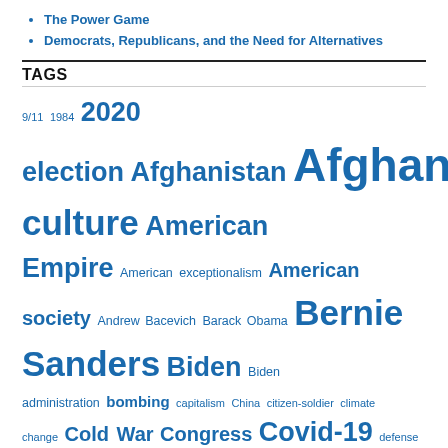The Power Game
Democrats, Republicans, and the Need for Alternatives
TAGS
9/11 1984 2020 election Afghanistan Afghan War American culture American Empire American exceptionalism American society Andrew Bacevich Barack Obama Bernie Sanders Biden Biden administration bombing capitalism China citizen-soldier climate change Cold War Congress Covid-19 defense budget defense spending democracy Democratic Party Democrats department of defense DNC Donald Trump drones Dwight Eisenhower education Eisenhower Empire F-35 fear foreign policy forever war George W. Bush global warming guns health care Hillary Clinton History Ike imperialism Iran Iraq Iraq